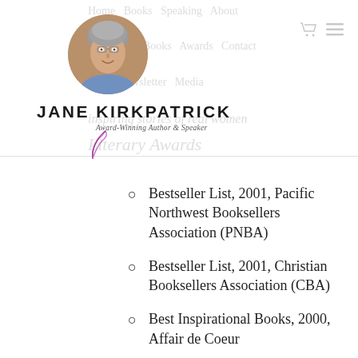JANE KIRKPATRICK — Award-Winning Author & Speaker
[Figure (photo): Circular portrait photo of Jane Kirkpatrick, a woman with short grey hair, smiling, wearing a blue top.]
JANE KIRKPATRICK
Award-Winning Author & Speaker
Literary Awards
Bestseller List, 2001, Pacific Northwest Booksellers Association (PNBA)
Bestseller List, 2001, Christian Booksellers Association (CBA)
Best Inspirational Books, 2000, Affair de Coeur